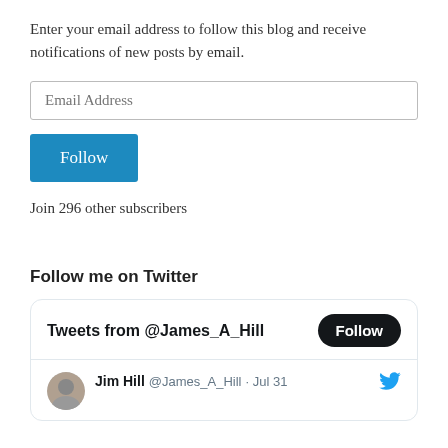Enter your email address to follow this blog and receive notifications of new posts by email.
[Figure (screenshot): Email address input field with placeholder text 'Email Address']
[Figure (screenshot): Blue 'Follow' button]
Join 296 other subscribers
Follow me on Twitter
[Figure (screenshot): Twitter widget showing 'Tweets from @James_A_Hill' with a Follow button and a tweet from Jim Hill @James_A_Hill dated Jul 31]